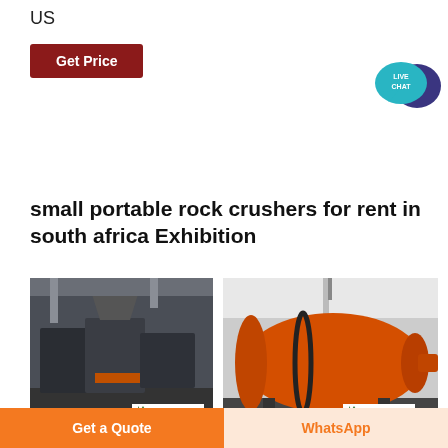US
Get Price
[Figure (illustration): Live Chat speech bubble icon with teal and dark blue colors, labeled LIVE CHAT]
small portable rock crushers for rent in south africa Exhibition
[Figure (photo): Industrial jaw crusher machine in a factory, dark gray machinery, ACrusher Mining Equipment logo badge]
[Figure (photo): Orange ball mill / grinding mill machine in a factory, ACrusher Mining Equipment logo badge]
Get a Quote
WhatsApp